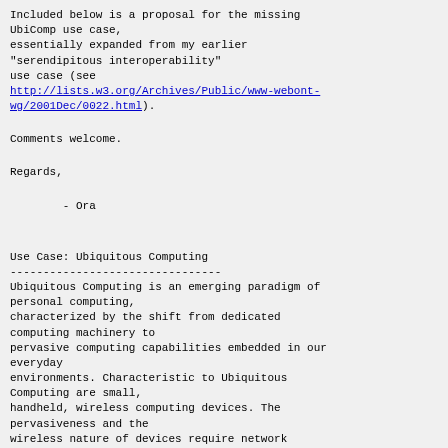Included below is a proposal for the missing UbiComp use case,
essentially expanded from my earlier
"serendipitous interoperability"
use case (see
http://lists.w3.org/Archives/Public/www-webont-wg/2001Dec/0022.html).
Comments welcome.
Regards,
- Ora
Use Case: Ubiquitous Computing
--------------------------------
Ubiquitous Computing is an emerging paradigm of personal computing,
characterized by the shift from dedicated computing machinery to
pervasive computing capabilities embedded in our everyday
environments. Characteristic to Ubiquitous Computing are small,
handheld, wireless computing devices. The pervasiveness and the
wireless nature of devices require network architectures to support